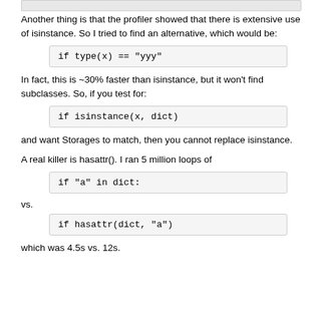Another thing is that the profiler showed that there is extensive use of isinstance. So I tried to find an alternative, which would be:
if type(x) == "yyy"
In fact, this is ~30% faster than isinstance, but it won't find subclasses. So, if you test for:
if isinstance(x, dict)
and want Storages to match, then you cannot replace isinstance.
A real killer is hasattr(). I ran 5 million loops of
if "a" in dict:
vs.
if hasattr(dict, "a")
which was 4.5s vs. 12s.